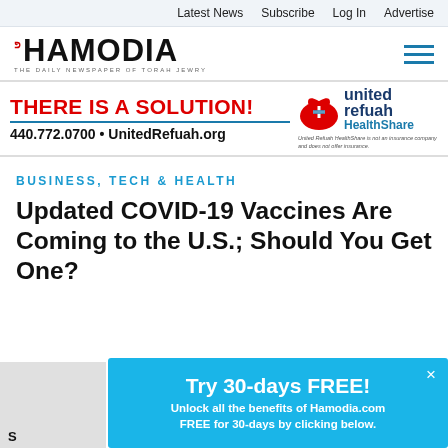Latest News   Subscribe   Log In   Advertise
[Figure (logo): Hamodia newspaper logo with tagline THE DAILY NEWSPAPER OF TORAH JEWRY]
[Figure (logo): United Refuah HealthShare logo with heart/cross icon]
[Figure (infographic): Advertisement banner: THERE IS A SOLUTION! 440.772.0700 • UnitedRefuah.org — United Refuah HealthShare. United Refuah HealthShare is not an insurance company and does not offer insurance.]
BUSINESS, TECH & HEALTH
Updated COVID-19 Vaccines Are Coming to the U.S.; Should You Get One?
[Figure (infographic): Popup banner: Try 30-days FREE! Unlock all the benefits of Hamodia.com FREE for 30-days by clicking below.]